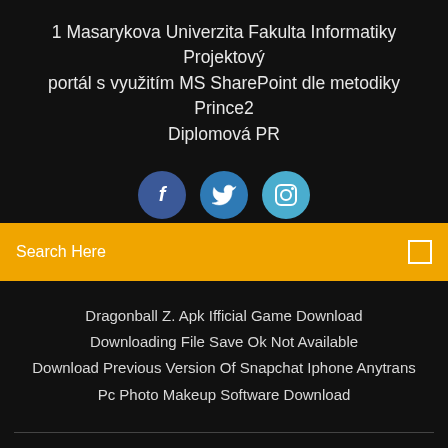1 Masarykova Univerzita Fakulta Informatiky Projektový portál s využitím MS SharePoint dle metodiky Prince2 Diplomová PR
[Figure (illustration): Three social media icon circles: Facebook (dark blue), Twitter (medium blue), Instagram (light blue)]
Search Here
Dragonball Z. Apk Ifficial Game Download
Downloading File Save Ok Not Available
Download Previous Version Of Snapchat Iphone Anytrans
Pc Photo Makeup Software Download
Copyright ©2022 All rights reserved